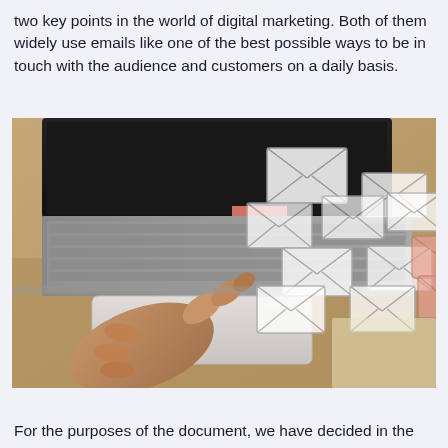two key points in the world of digital marketing. Both of them widely use emails like one of the best possible ways to be in touch with the audience and customers on a daily basis.
[Figure (photo): Photo of a hand pointing at a laptop trackpad with multiple email envelope icons floating above the keyboard, suggesting email marketing concept.]
For the purposes of the document, we have decided in the